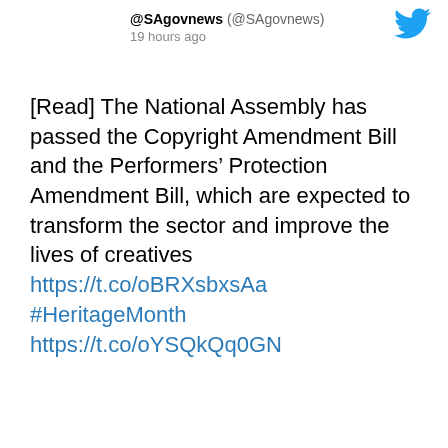@SAgovnews (@SAgovnews)
19 hours ago
[Read] The National Assembly has passed the Copyright Amendment Bill and the Performers’ Protection Amendment Bill, which are expected to transform the sector and improve the lives of creatives https://t.co/oBRXsbxsAa #HeritageMonth https://t.co/oYSQkQq0GN